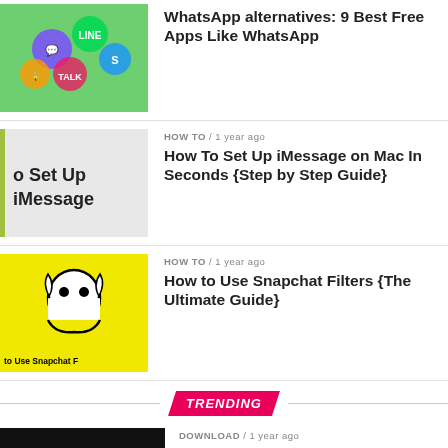[Figure (photo): App icons including WhatsApp alternatives on green background]
WhatsApp alternatives: 9 Best Free Apps Like WhatsApp
[Figure (photo): iMessage setup guide thumbnail with text showing 'o Set Up iMessage']
HOW TO / 1 year ago
How To Set Up iMessage on Mac In Seconds {Step by Step Guide}
[Figure (photo): Snapchat ghost logo on yellow background with text 'to Use Snapchat F']
HOW TO / 1 year ago
How to Use Snapchat Filters {The Ultimate Guide}
TRENDING
[Figure (photo): Kodi 17 logo on dark background]
DOWNLOAD / 1 year ago
Download Kodi 17.6 Krypton for Android, Firestick, Mac, Windows & Linux
[Figure (photo): Phone Connected thumbnail on green background]
FIXES / 1 year ago
Working Ways to Fix "Phone Connected